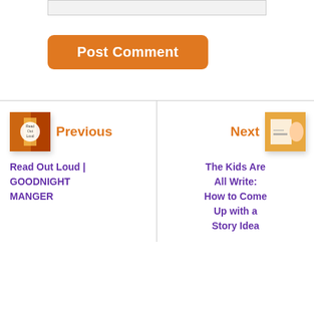[Figure (screenshot): Input box at top of page, light gray background, bordered]
Post Comment
[Figure (photo): Previous post thumbnail showing colorful book cover illustration]
Previous
Read Out Loud | GOODNIGHT MANGER
[Figure (photo): Next post thumbnail showing a child writing]
Next
The Kids Are All Write: How to Come Up with a Story Idea